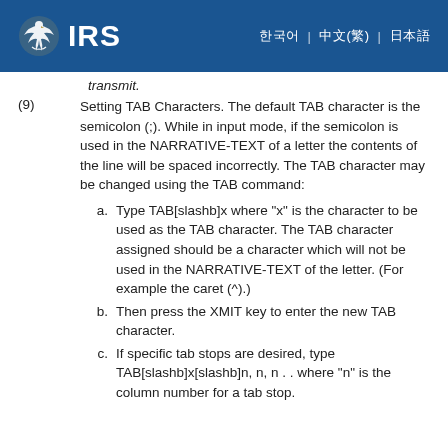IRS
transmit.
(9) Setting TAB Characters. The default TAB character is the semicolon (;). While in input mode, if the semicolon is used in the NARRATIVE-TEXT of a letter the contents of the line will be spaced incorrectly. The TAB character may be changed using the TAB command:
a. Type TAB[slashb]x where "x" is the character to be used as the TAB character. The TAB character assigned should be a character which will not be used in the NARRATIVE-TEXT of the letter. (For example the caret (^).)
b. Then press the XMIT key to enter the new TAB character.
c. If specific tab stops are desired, type TAB[slashb]x[slashb]n, n, n . . where "n" is the column number for a tab stop.